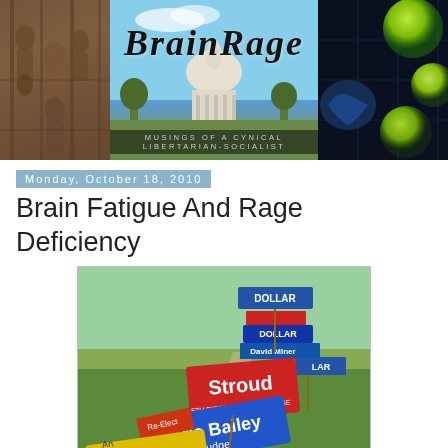[Figure (photo): Brain Rage blog header banner showing stone temple relief carvings on left, US Capitol building in center with blue sky, and green glowing orbs on dark background on right, with 'Brain Rage' title and subtitle 'Musings of a Cynical Libertarian-Socialist']
Monday, October 18, 2010
Brain Fatigue And Rage Deficiency
[Figure (photo): Photograph of a grassy area with numerous campaign yard signs clustered together, including signs for 'Dollar', 'David Miner', 'Stroud 5th District Court Judge', 'Re-Elect Kris Bailey Judge', 'An Fletcher', and others]